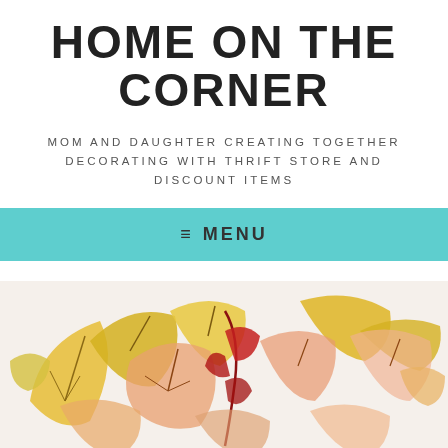HOME ON THE CORNER
MOM AND DAUGHTER CREATING TOGETHER DECORATING WITH THRIFT STORE AND DISCOUNT ITEMS
≡ MENU
[Figure (photo): Close-up photo of autumn/fall leaves in yellow, orange, salmon, and dark red colors against a white background, resembling a decorative craft or watercolor art piece.]
Follow